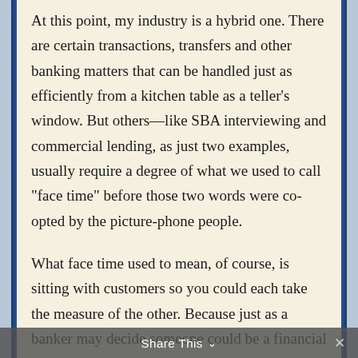At this point, my industry is a hybrid one. There are certain transactions, transfers and other banking matters that can be handled just as efficiently from a kitchen table as a teller’s window. But others—like SBA interviewing and commercial lending, as just two examples, usually require a degree of what we used to call “face time” before those two words were co-opted by the picture-phone people.
What face time used to mean, of course, is sitting with customers so you could each take the measure of the other. Because just as a banker may decide someone could be a financial risk, that same someone could be thinking, I